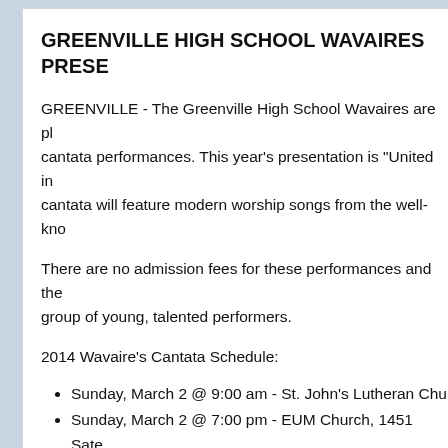GREENVILLE HIGH SCHOOL WAVAIRES PRESE...
GREENVILLE - The Greenville High School Wavaires are pl... cantata performances. This year's presentation is "United in... cantata will feature modern worship songs from the well-kno...
There are no admission fees for these performances and the... group of young, talented performers.
2014 Wavaire's Cantata Schedule:
Sunday, March 2 @ 9:00 am - St. John's Lutheran Chu...
Sunday, March 2 @ 7:00 pm - EUM Church, 1451 Sate...
Sunday, March 9 @ 10:30 am - First Presbyterian Chu...
Sunday, March 16 @ 10:30 am - First Assembly of Go...
Sunday, March 23 @ 7:00 pm - Ansonia Church of Go...
Sunday, April 6 @ 10:30 am – Oakland Church of the B...
Sunday, April 27 @ 9:00 am - First United Methodist...